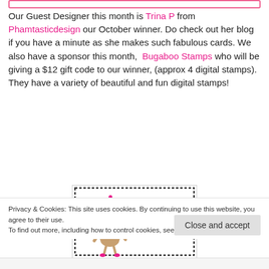Our Guest Designer this month is Trina P from Phamtasticdesign our October winner. Do check out her blog if you have a minute as she makes such fabulous cards. We also have a sponsor this month,  Bugaboo Stamps who will be giving a $12 gift code to our winner, (approx 4 digital stamps). They have a variety of beautiful and fun digital stamps!
[Figure (illustration): Bugaboo Stamps logo/advertisement image showing a cartoon character (elderly woman with grey fluffy hair wearing a pink hat) next to text 'Bugaboo Stamps' in pink and 'So GLAD' in green]
Privacy & Cookies: This site uses cookies. By continuing to use this website, you agree to their use. To find out more, including how to control cookies, see here: Cookie Policy
Close and accept